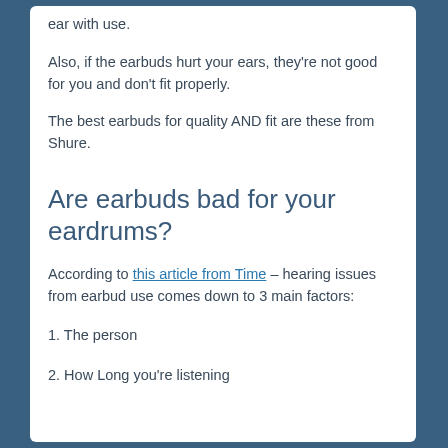they form to your ear with use.
Also, if the earbuds hurt your ears, they're not good for you and don't fit properly.
The best earbuds for quality AND fit are these from Shure.
Are earbuds bad for your eardrums?
According to this article from Time – hearing issues from earbud use comes down to 3 main factors:
1. The person
2. How Long you're listening